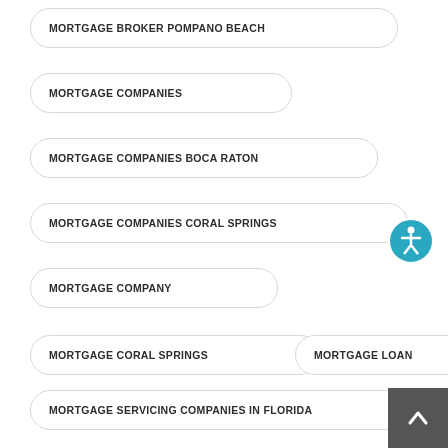MORTGAGE BROKER POMPANO BEACH
MORTGAGE COMPANIES
MORTGAGE COMPANIES BOCA RATON
MORTGAGE COMPANIES CORAL SPRINGS
MORTGAGE COMPANY
MORTGAGE CORAL SPRINGS
MORTGAGE LOAN
MORTGAGE SERVICING COMPANIES IN FLORIDA
MORTGAGE SERVICING COMPANIES IN POMPANO BEACH
REFI